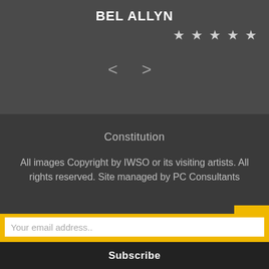BEL ALLYN
[Figure (illustration): Five star rating icons displayed in a row, light gray color on dark background]
[Figure (illustration): Navigation arrows: left chevron < and right chevron > for carousel navigation]
Constitution
All images Copyright by IWSO or its visiting artists. All rights reserved. Site managed by PC Consultants
Sign-up to the IWSO Newsletter
Your email address..
Subscribe